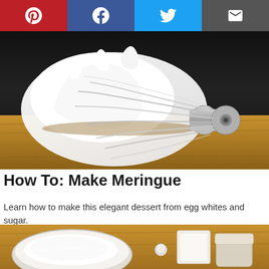[Figure (other): Social sharing bar with Pinterest, Facebook, Twitter, and email buttons]
[Figure (photo): Close-up photo of a stand mixer whisk attachment covered in white meringue, resting on a wooden surface against a dark background]
How To: Make Meringue
Learn how to make this elegant dessert from egg whites and sugar.
[Figure (photo): Overhead shot of meringue ingredients on a wooden surface: a bowl of powdered sugar and other ingredients]